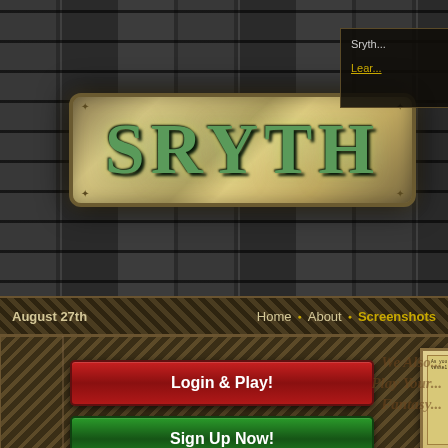[Figure (screenshot): Sryth fantasy RPG website header with stone brick dark background and ornate gold-bordered logo plaque showing 'SRYTH' in green stylized text]
Sryth
Learn
August 27th   Home · About · Screenshots
Login & Play!
[Figure (screenshot): Small thumbnail screenshot of the Sryth game interface showing parchment-colored game panels with text and tables]
We Also Play Your...
UPGRADE!
Adventurers
Sign Up Now!
The Latest News
August 16th
Celebrating the Update